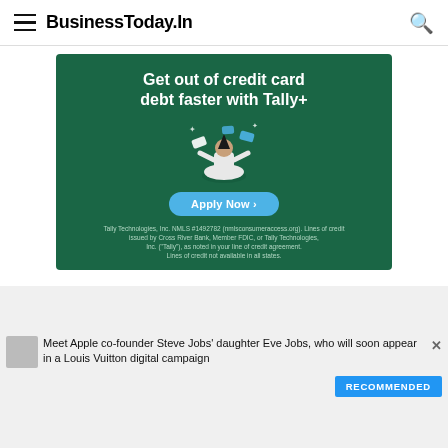BusinessToday.In
[Figure (infographic): Tally+ advertisement on dark green background. Headline: 'Get out of credit card debt faster with Tally+'. Illustration of a person meditating with credit cards floating around. Blue 'Apply Now >' button. Legal disclaimer text at bottom.]
Meet Apple co-founder Steve Jobs' daughter Eve Jobs, who will soon appear in a Louis Vuitton digital campaign
RECOMMENDED